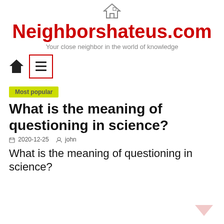Neighborshateus.com — Your close neighbor in the world of knowledge
[Figure (illustration): Small house/home icon at top center of site header]
Neighborshateus.com
Your close neighbor in the world of knowledge
[Figure (illustration): Navigation bar with home icon and hamburger menu button with red border]
Most popular
What is the meaning of questioning in science?
2020-12-25   john
What is the meaning of questioning in science?